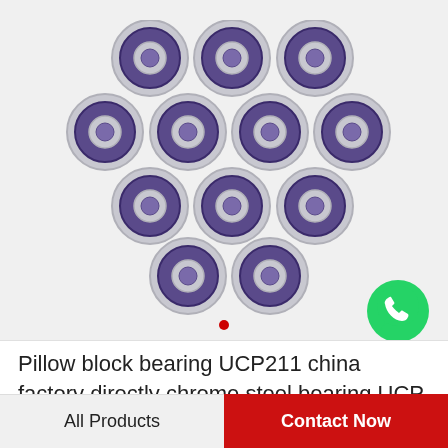[Figure (photo): A cluster of approximately 20 ball bearings with purple/blue rubber seals and silver metal rings, arranged in a pile on a light gray background. A WhatsApp Online badge (green phone icon) appears in the lower right of the image area.]
Pillow block bearing UCP211 china factory directly chrome steel bearing UCP 211 use for…
All Products
Contact Now